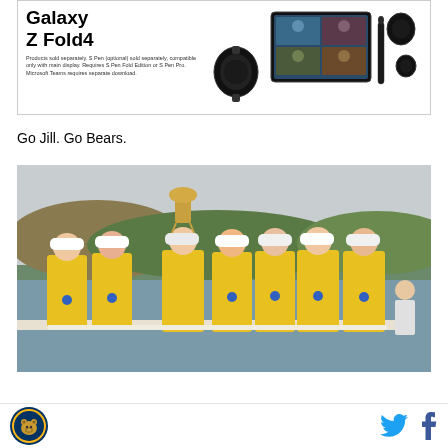[Figure (photo): Samsung Galaxy Z Fold4 advertisement showing the phone with smartwatch and earbuds, and a video call on the unfolded screen.]
Go Jill. Go Bears.
[Figure (photo): Group of women rowers in yellow uniforms with medals holding up a trophy near a lake, celebrating a victory.]
Footer with Cal Bears logo on left and Twitter and Facebook share icons on the right.